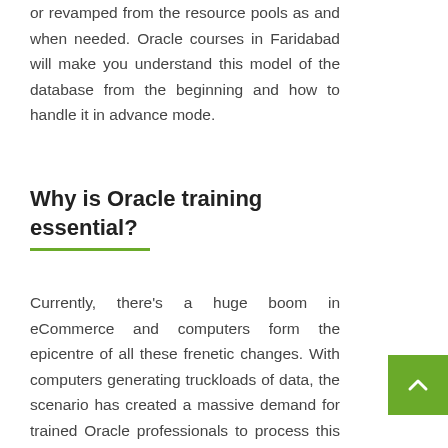or revamped from the resource pools as and when needed. Oracle courses in Faridabad will make you understand this model of the database from the beginning and how to handle it in advance mode.
Why is Oracle training essential?
Currently, there's a huge boom in eCommerce and computers form the epicentre of all these frenetic changes. With computers generating truckloads of data, the scenario has created a massive demand for trained Oracle professionals to process this data which accumulates in the course of transactions and information exchanges.